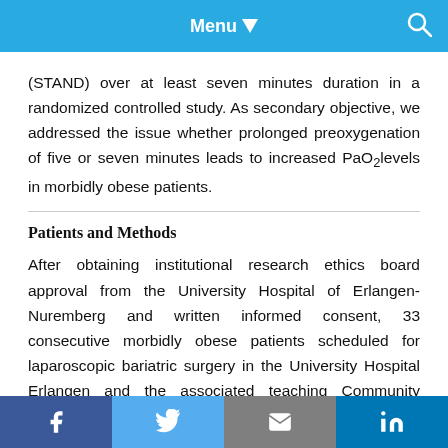Menu
(STAND) over at least seven minutes duration in a randomized controlled study. As secondary objective, we addressed the issue whether prolonged preoxygenation of five or seven minutes leads to increased PaO₂ levels in morbidly obese patients.
Patients and Methods
After obtaining institutional research ethics board approval from the University Hospital of Erlangen-Nuremberg and written informed consent, 33 consecutive morbidly obese patients scheduled for laparoscopic bariatric surgery in the University Hospital Erlangen and the associated teaching Community Hospital Schwabach
f  t  mail  in